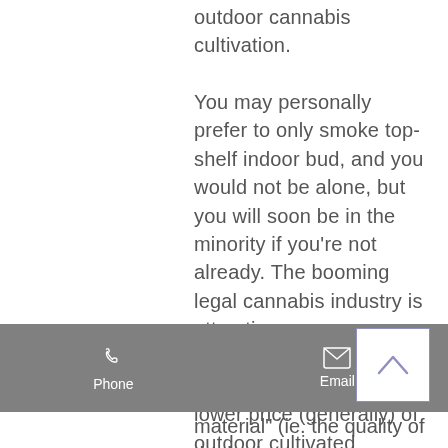outdoor cannabis cultivation.
You may personally prefer to only smoke top-shelf indoor bud, and you would not be alone, but you will soon be in the minority if you're not already. The booming legal cannabis industry is attracting new consumers from all walks of life, and for most of them, the lower price (generally) of outdoor cultivated cannabis is the lure, and the satisfactory flavor and effects they get from it sets the hook. Additionally, with more and more people turning away from the flower from of the plant in favor of convenient ingestion methods like
Phone   Email
material" (ie. the quality of the buds